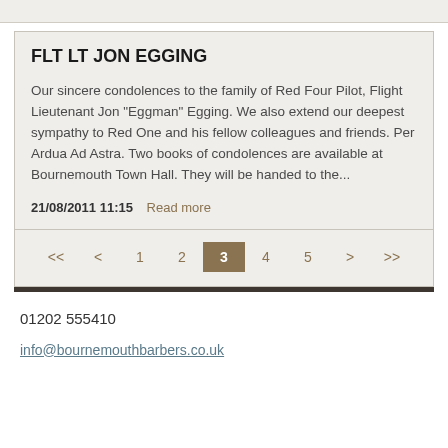FLT LT JON EGGING
Our sincere condolences to the family of Red Four Pilot, Flight Lieutenant Jon "Eggman" Egging. We also extend our deepest sympathy to Red One and his fellow colleagues and friends. Per Ardua Ad Astra. Two books of condolences are available at Bournemouth Town Hall. They will be handed to the...
21/08/2011 11:15   Read more
<< < 1 2 3 4 5 > >>
01202 555410
info@bournemouthbarbers.co.uk